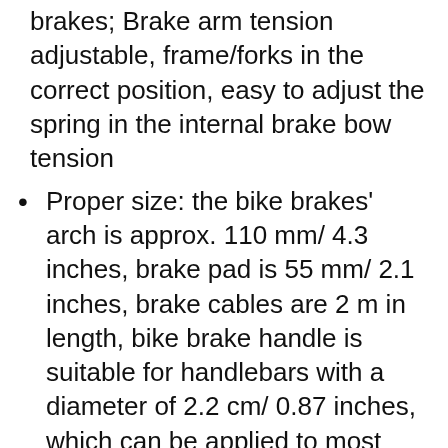brakes; Brake arm tension adjustable, frame/forks in the correct position, easy to adjust the spring in the internal brake bow tension
Proper size: the bike brakes' arch is approx. 110 mm/ 4.3 inches, brake pad is 55 mm/ 2.1 inches, brake cables are 2 m in length, bike brake handle is suitable for handlebars with a diameter of 2.2 cm/ 0.87 inches, which can be applied to most bikes
Easy to install: the bike brake lever set is simple to mount on the bikes, and you will find it easy to quickly replace the old bike brake, making the riding process more smooth